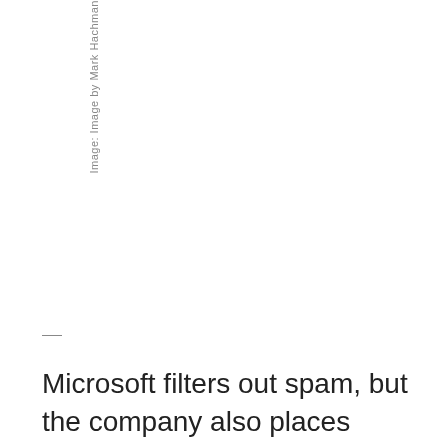Image: Image by Mark Hachman
Microsoft filters out spam, but the company also places email that you probably don't care about in